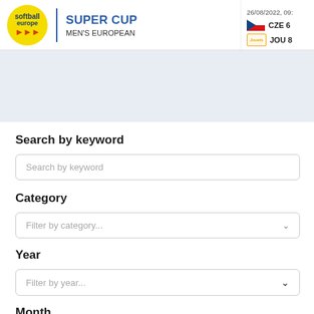softball europe | SUPER CUP | MEN'S EUROPEAN | 26/08/2022, 09: | CZE 6 | JOU 8
Search by keyword
Search by keyword
Category
Filter by category...
Year
Filter by year...
Month
Filter by month...